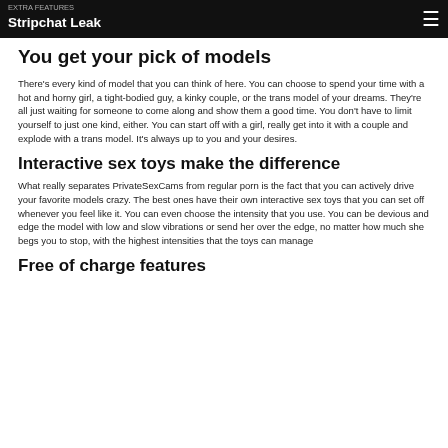Stripchat Leak
You get your pick of models
There's every kind of model that you can think of here. You can choose to spend your time with a hot and horny girl, a tight-bodied guy, a kinky couple, or the trans model of your dreams. They're all just waiting for someone to come along and show them a good time. You don't have to limit yourself to just one kind, either. You can start off with a girl, really get into it with a couple and explode with a trans model. It's always up to you and your desires.
Interactive sex toys make the difference
What really separates PrivateSexCams from regular porn is the fact that you can actively drive your favorite models crazy. The best ones have their own interactive sex toys that you can set off whenever you feel like it. You can even choose the intensity that you use. You can be devious and edge the model with low and slow vibrations or send her over the edge, no matter how much she begs you to stop, with the highest intensities that the toys can manage
Free of charge features